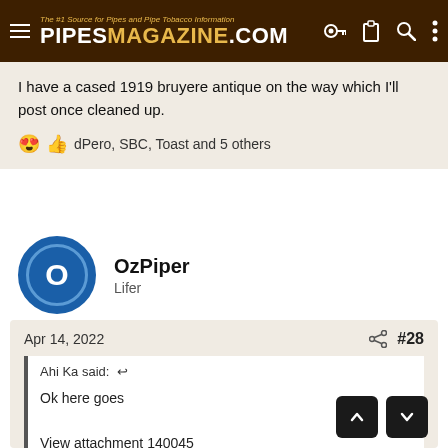PIPESMAGAZINE.COM — The #1 Source for Pipes and Pipe Tobacco Information
I have a cased 1919 bruyere antique on the way which I'll post once cleaned up.
dPero, SBC, Toast and 5 others
OzPiper
Lifer
Apr 14, 2022  #28
Ahi Ka said:
Ok here goes
View attachment 140045
These are all my earlier ones.